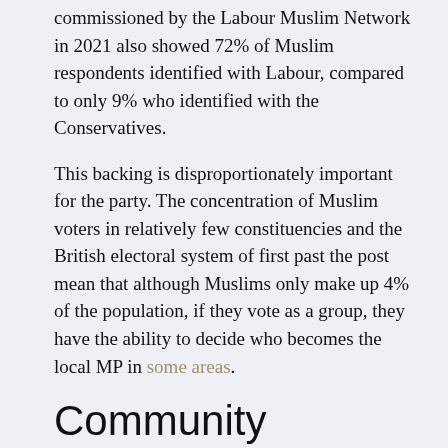commissioned by the Labour Muslim Network in 2021 also showed 72% of Muslim respondents identified with Labour, compared to only 9% who identified with the Conservatives.
This backing is disproportionately important for the party. The concentration of Muslim voters in relatively few constituencies and the British electoral system of first past the post mean that although Muslims only make up 4% of the population, if they vote as a group, they have the ability to decide who becomes the local MP in some areas.
Community networks
Labour has often relied on biraderi networks to build electoral support among Muslim communities. Biraderi,